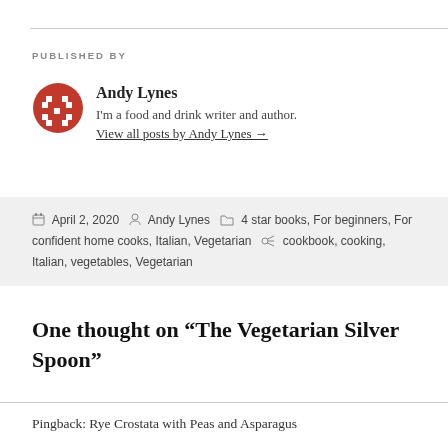PUBLISHED BY
[Figure (logo): Red pixel/mosaic-style circular author avatar icon]
Andy Lynes
I'm a food and drink writer and author.
View all posts by Andy Lynes →
April 2, 2020  Andy Lynes  4 star books, For beginners, For confident home cooks, Italian, Vegetarian  cookbook, cooking, Italian, vegetables, Vegetarian
One thought on “The Vegetarian Silver Spoon”
Pingback: Rye Crostata with Peas and Asparagus